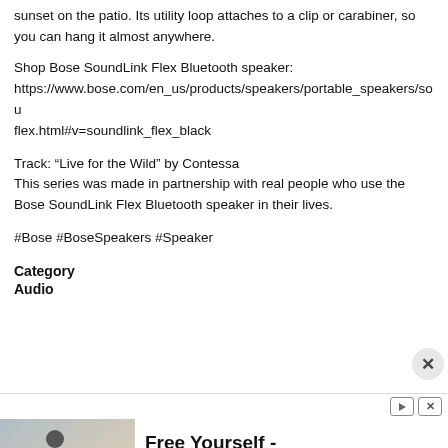sunset on the patio. Its utility loop attaches to a clip or carabiner, so you can hang it almost anywhere.
Shop Bose SoundLink Flex Bluetooth speaker: https://www.bose.com/en_us/products/speakers/portable_speakers/soundlink_flex.html#v=soundlink_flex_black
Track: “Live for the Wild” by Contessa
This series was made in partnership with real people who use the Bose SoundLink Flex Bluetooth speaker in their lives.
#Bose #BoseSpeakers #Speaker
Category
Audio
[Figure (screenshot): Comment input area with avatar circle and text input field, plus close button]
[Figure (screenshot): Advertisement banner for Incerunmen: Free Yourself - Incerunmen.com with Shop Now button and fashion image]